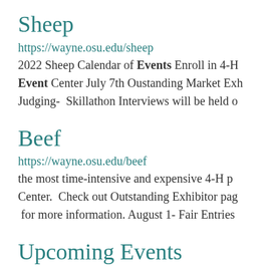Sheep
https://wayne.osu.edu/sheep
2022 Sheep Calendar of Events Enroll in 4-H Event Center July 7th Oustanding Market Exh Judging- Skillathon Interviews will be held o
Beef
https://wayne.osu.edu/beef
the most time-intensive and expensive 4-H p Center. Check out Outstanding Exhibitor pag for more information. August 1- Fair Entries
Upcoming Events
https://wayne.osu.edu/news/upcoming-events